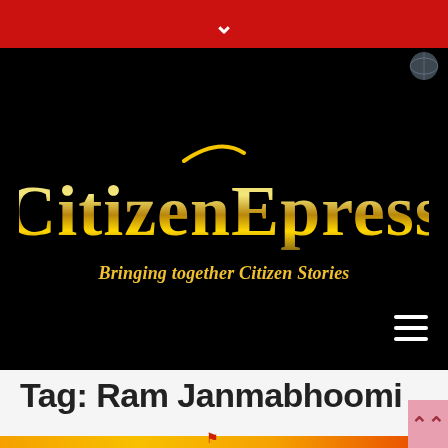[Figure (logo): CitizenExpress newspaper logo on black background with gold/metallic Gothic-style text and yellow tagline 'Bringing together Citizen Stories'. Red top navigation bar with white chevron. Hamburger menu icon at bottom right.]
Tag: Ram Janmabhoomi